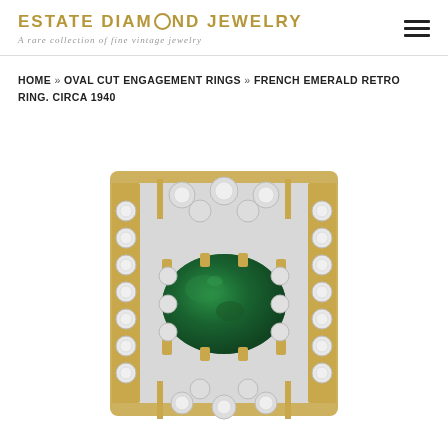ESTATE DIAMOND JEWELRY — A rare collection of fine vintage jewelry
HOME » OVAL CUT ENGAGEMENT RINGS » FRENCH EMERALD RETRO RING. CIRCA 1940
[Figure (photo): Close-up photograph of a French Emerald Retro Ring circa 1940, featuring a large oval green emerald center stone set in a yellow gold and platinum mounting surrounded by old-cut diamonds arranged in a rectangular Art Deco style cluster setting.]